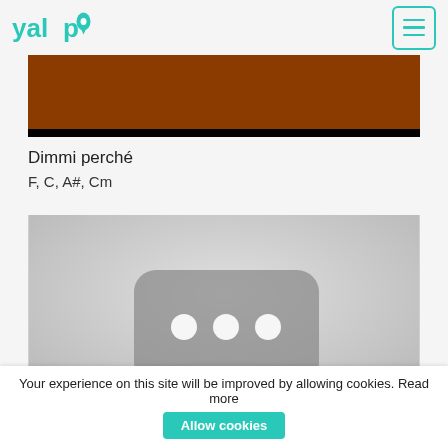yalp [logo] [hamburger menu]
[Figure (photo): Dark image strip with brown upper portion and black border/background, appearing to be a cropped video/photo thumbnail]
Dimmi perché
F, C, A#, Cm
[Figure (screenshot): Gray blurred thumbnail image showing a YouTube-like loading placeholder with a rounded rectangle and three white dots/circles in the center]
Your experience on this site will be improved by allowing cookies. Read more  Allow cookies